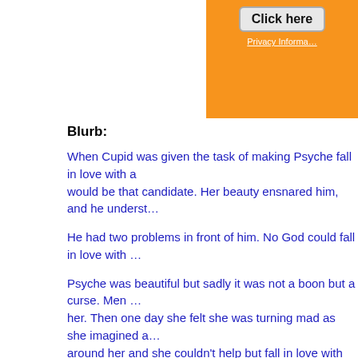[Figure (other): Orange advertisement box in top right corner with 'Click here' button and 'Privacy Informa...' text]
Blurb:
When Cupid was given the task of making Psyche fall in love with a would be that candidate. Her beauty ensnared him, and he underst…
He had two problems in front of him. No God could fall in love with …
Psyche was beautiful but sadly it was not a boon but a curse. Men … her. Then one day she felt she was turning mad as she imagined a… around her and she couldn't help but fall in love with that shadow. S… was hard to resist. She couldn't see him, yet he had captured her h… know that it was her destiny, she decided to surrender to her fate.
When two unlikely souls fall in love, it's because the Gods have a p… two lovers ready to give up to get their love?
I am participating in the #MyFriendAlexa campaign by Blogcha…
Posted by Preethi Venugopala